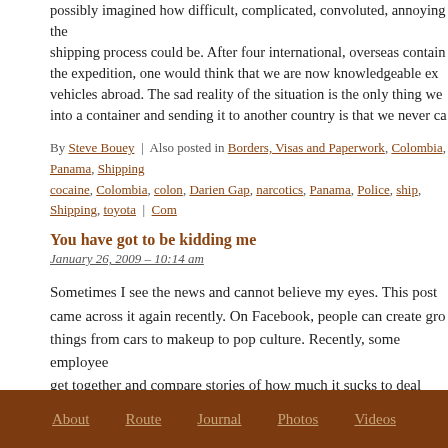possibly imagined how difficult, complicated, convoluted, annoying the shipping process could be. After four international, overseas container the expedition, one would think that we are now knowledgeable ex vehicles abroad. The sad reality of the situation is the only thing we into a container and sending it to another country is that we never ca
By Steve Bouey | Also posted in Borders, Visas and Paperwork, Colombia, Panama, Shipping cocaine, Colombia, colon, Darien Gap, narcotics, Panama, Police, ship, Shipping, toyota | Com
You have got to be kidding me
January 26, 2009 – 10:14 am
Sometimes I see the news and cannot believe my eyes. This post came across it again recently. On Facebook, people can create gro things from cars to makeup to pop culture. Recently, some employee get together and compare stories of how much it sucks to deal with plane.
By Steven Shoppman | Also posted in For some laughs, World News | Tagged british airways
« Older posts
About   Route   Journal   Photos   Videos